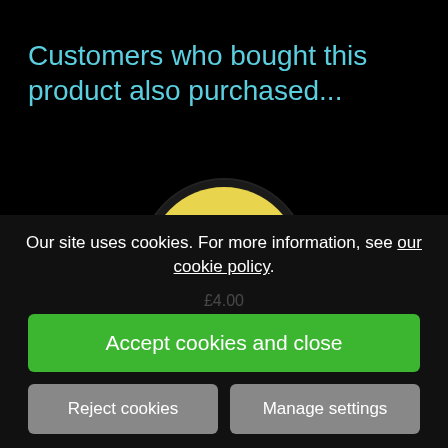Customers who bought this product also purchased...
[Figure (illustration): Circular badge/pin showing a cartoon villain character in a top hat smoking a cigar, with text 'FOR MAYOR' in pink letters on a yellow background, dark border]
Batman - Penguin for...
Our site uses cookies. For more information, see our cookie policy.
Accept cookies and close
£4.00
Reject cookies
Manage settings
VIEW DETAILS